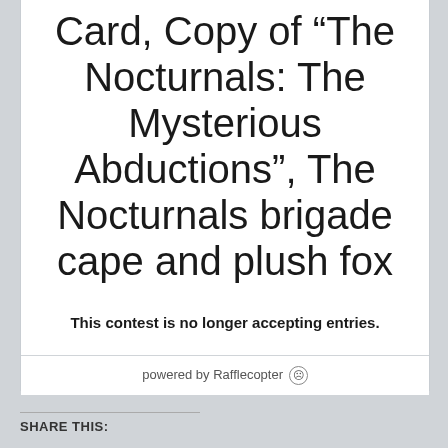Card, Copy of “The Nocturnals: The Mysterious Abductions”, The Nocturnals brigade cape and plush fox
This contest is no longer accepting entries.
powered by Rafflecopter
SHARE THIS: